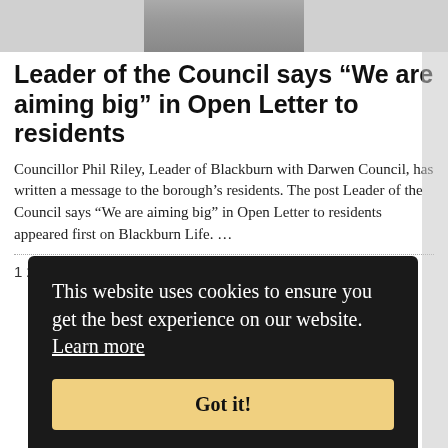[Figure (photo): Partial photo of a person in a dark jacket with grey hair, shown from roughly chest up against a light background]
Leader of the Council says “We are aiming big” in Open Letter to residents
Councillor Phil Riley, Leader of Blackburn with Darwen Council, has written a message to the borough’s residents. The post Leader of the Council says “We are aiming big” in Open Letter to residents appeared first on Blackburn Life. …
1 2 3 … 10 Next »
This website uses cookies to ensure you get the best experience on our website. Learn more
Got it!